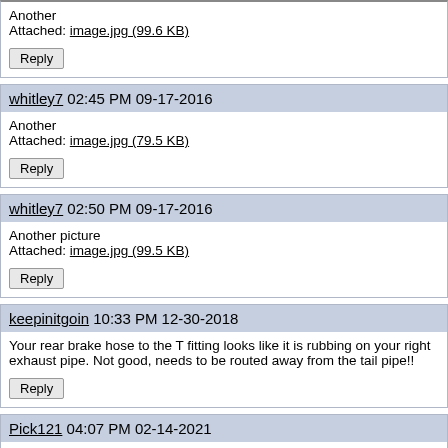Another
Attached: image.jpg (99.6 KB)
Reply
whitley7 02:45 PM 09-17-2016
Another
Attached: image.jpg (79.5 KB)
Reply
whitley7 02:50 PM 09-17-2016
Another picture
Attached: image.jpg (99.5 KB)
Reply
keepinitgoin 10:33 PM 12-30-2018
Your rear brake hose to the T fitting looks like it is rubbing on your right exhaust pipe. Not good, needs to be routed away from the tail pipe!!
Reply
Pick121 04:07 PM 02-14-2021
Originally Posted by whitley7:
Hi everyone, I got this truck last year as a rolling chassis. The previous owner had install disk brakes on the front and ran new brake lines. I have since put in